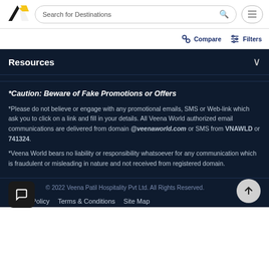Search for Destinations
Compare  Filters
Resources
*Caution: Beware of Fake Promotions or Offers
*Please do not believe or engage with any promotional emails, SMS or Web-link which ask you to click on a link and fill in your details. All Veena World authorized email communications are delivered from domain @veenaworld.com or SMS from VNAWLD or 741324.
*Veena World bears no liability or responsibility whatsoever for any communication which is fraudulent or misleading in nature and not received from registered domain.
© 2022 Veena Patil Hospitality Pvt Ltd. All Rights Reserved.
Privacy Policy  Terms & Conditions  Site Map